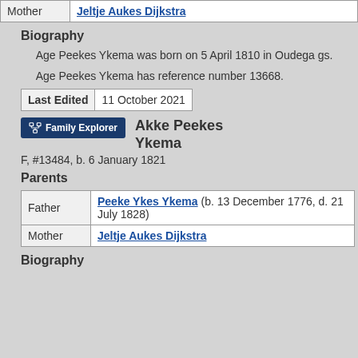|  |  |
| --- | --- |
| Mother | Jeltje Aukes Dijkstra |
Biography
Age Peekes Ykema was born on 5 April 1810 in Oudega gs.
Age Peekes Ykema has reference number 13668.
| Last Edited | 11 October 2021 |
| --- | --- |
Akke Peekes Ykema
F, #13484, b. 6 January 1821
Parents
|  |  |
| --- | --- |
| Father | Peeke Ykes Ykema (b. 13 December 1776, d. 21 July 1828) |
| Mother | Jeltje Aukes Dijkstra |
Biography